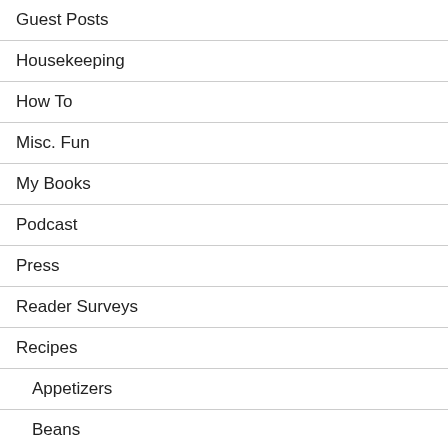Guest Posts
Housekeeping
How To
Misc. Fun
My Books
Podcast
Press
Reader Surveys
Recipes
Appetizers
Beans
Braises